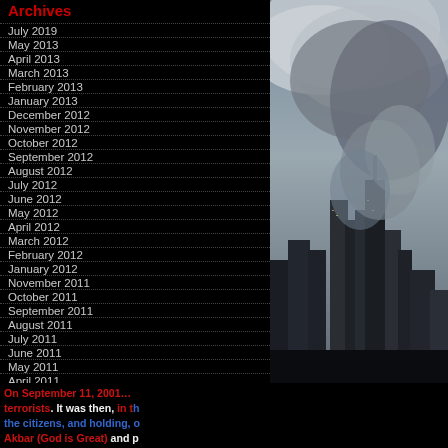Archives
July 2019
May 2013
April 2013
March 2013
February 2013
January 2013
December 2012
November 2012
October 2012
September 2012
August 2012
July 2012
June 2012
May 2012
April 2012
March 2012
February 2012
January 2012
November 2011
October 2011
September 2011
August 2011
July 2011
June 2011
May 2011
April 2011
March 2011
February 2011
January 2011
[Figure (photo): City skyline obscured by smoke and clouds, 9/11 scene]
On September 11, 2001... terrorists. It was then, in the citizens, and holding, o Akbar (God is Great) and p and quoting from the Islam their planes into targets on 2726 men, women and ch